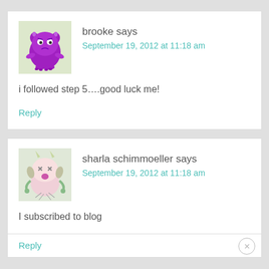[Figure (illustration): Purple monster/creature avatar for user brooke]
brooke says
September 19, 2012 at 11:18 am
i followed step 5….good luck me!
Reply
[Figure (illustration): Pink/white monster creature avatar for user sharla schimmoeller]
sharla schimmoeller says
September 19, 2012 at 11:18 am
I subscribed to blog
Reply